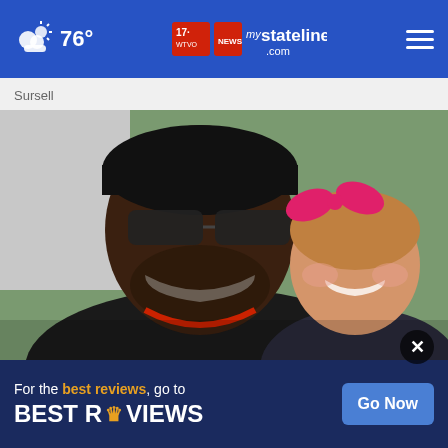76° mystateline .com
Sursell
[Figure (photo): A smiling Black man wearing a black cap and dark sunglasses posing with a young toddler girl who has a pink bow in her hair. Both are smiling. Outdoor setting with a white vehicle and trees in the background.]
Girl Gives Garbage Man Cupcake Every Week Until Dad...
Health
[Figure (other): Advertisement banner: 'For the best reviews, go to BESTREVIEWS' with a 'Go Now' button on a dark navy background.]